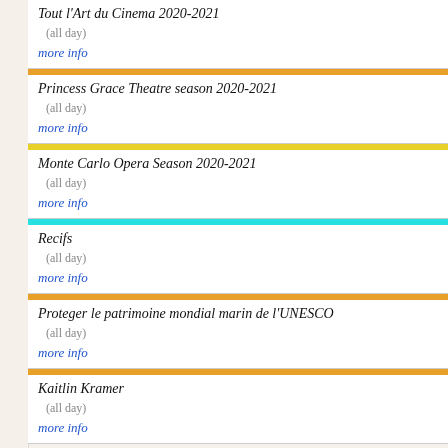Tout l'Art du Cinema 2020-2021
(all day)
more info
Princess Grace Theatre season 2020-2021
(all day)
more info
Monte Carlo Opera Season 2020-2021
(all day)
more info
Recifs
(all day)
more info
Proteger le patrimoine mondial marin de l'UNESCO
(all day)
more info
Kaitlin Kramer
(all day)
more info